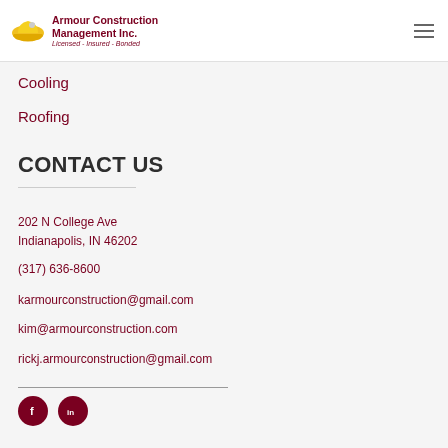Armour Construction Management Inc. Licensed - Insured - Bonded
Cooling
Roofing
CONTACT US
202 N College Ave
Indianapolis, IN 46202
(317) 636-8600
karmourconstruction@gmail.com
kim@armourconstruction.com
rickj.armourconstruction@gmail.com